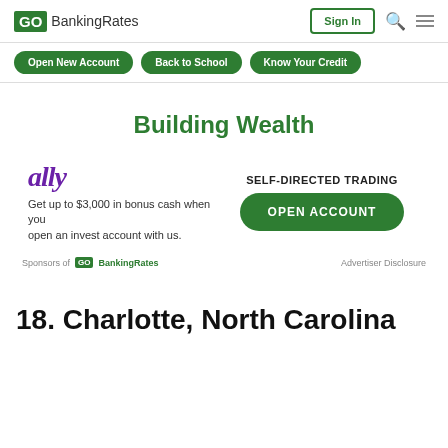GOBankingRates Sign In
Open New Account
Back to School
Know Your Credit
Building Wealth
[Figure (infographic): Ally bank advertisement: ally logo, text 'Get up to $3,000 in bonus cash when you open an invest account with us.' with SELF-DIRECTED TRADING and OPEN ACCOUNT green button]
Sponsors of GOBankingRates  Advertiser Disclosure
18. Charlotte, North Carolina